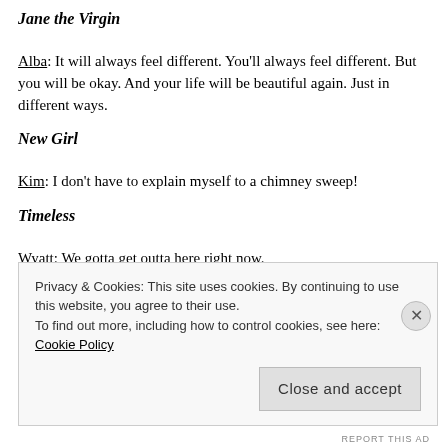Jane the Virgin
Alba: It will always feel different. You'll always feel different. But you will be okay. And your life will be beautiful again. Just in different ways.
New Girl
Kim: I don't have to explain myself to a chimney sweep!
Timeless
Wyatt: We gotta get outta here right now.
Rufus: We're just supposed to leave him here like this?
Wyatt: What do you wanna do? Wait for the cops? We don't have IDs. I'm wearing button-fly jeans from The Gap! There's nothing we can do.
Privacy & Cookies: This site uses cookies. By continuing to use this website, you agree to their use. To find out more, including how to control cookies, see here: Cookie Policy
Close and accept
REPORT THIS AD